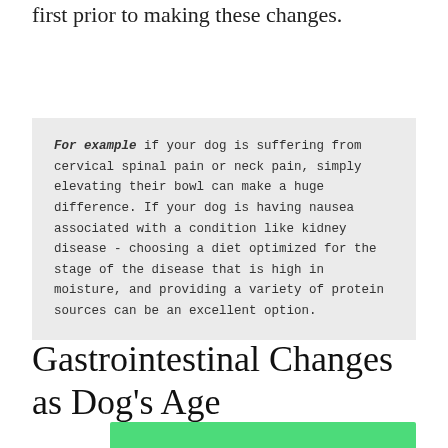first prior to making these changes.
For example if your dog is suffering from cervical spinal pain or neck pain, simply elevating their bowl can make a huge difference. If your dog is having nausea associated with a condition like kidney disease - choosing a diet optimized for the stage of the disease that is high in moisture, and providing a variety of protein sources can be an excellent option.
Gastrointestinal Changes as Dog's Age
[Figure (other): Bottom portion of a green-bordered box, partially visible at the bottom of the page]